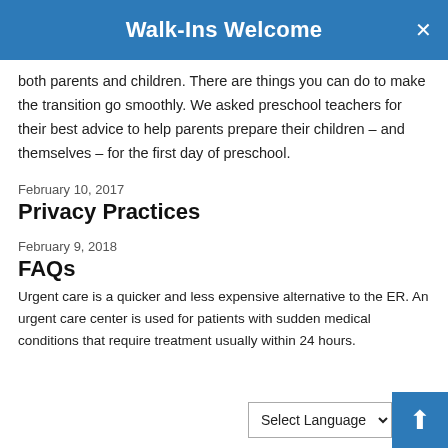Walk-Ins Welcome
both parents and children. There are things you can do to make the transition go smoothly. We asked preschool teachers for their best advice to help parents prepare their children – and themselves – for the first day of preschool.
February 10, 2017
Privacy Practices
February 9, 2018
FAQs
Urgent care is a quicker and less expensive alternative to the ER. An urgent care center is used for patients with sudden medical conditions that require treatment usually within 24 hours.